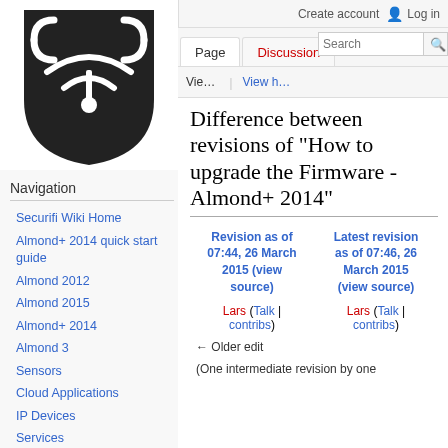Create account  Log in
[Figure (logo): Securifi Wiki logo: dark shield/drop shape with white WiFi antenna icon and signal waves on black background]
Navigation
Securifi Wiki Home
Almond+ 2014 quick start guide
Almond 2012
Almond 2015
Almond+ 2014
Almond 3
Sensors
Cloud Applications
IP Devices
Services
Securifi
Securifi forums
Difference between revisions of "How to upgrade the Firmware - Almond+ 2014"
| Revision as of 07:44, 26 March 2015 (view source) | Latest revision as of 07:46, 26 March 2015 (view source) |
| --- | --- |
| Lars (Talk | contribs) | Lars (Talk | contribs) |
| ← Older edit |  |
(One intermediate revision by one